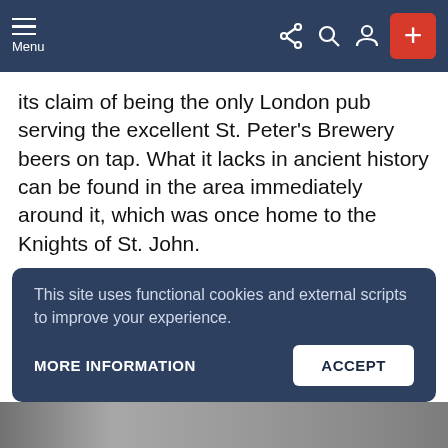Menu [navigation bar with share, search, profile icons and + button]
its claim of being the only London pub serving the excellent St. Peter’s Brewery beers on tap. What it lacks in ancient history can be found in the area immediately around it, which was once home to the Knights of St. John.
Address: 55 Britton St, Farringdon, London EC1M 5UQ
Website: stpetersbrewery.co.uk/london-pub
This site uses functional cookies and external scripts to improve your experience.
MORE INFORMATION   ACCEPT